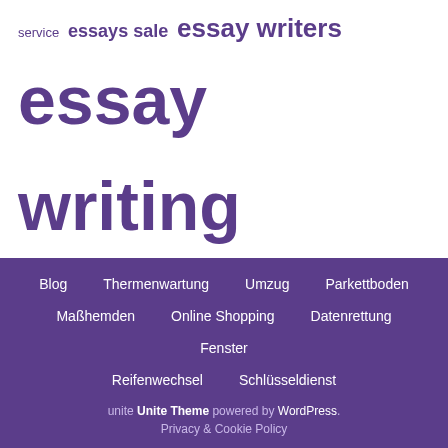[Figure (infographic): Tag/word cloud with terms of varying sizes in purple on white background: service, essays sale, essay writers, essay writing, every single, free charge, higher education, high quality, junior college, junior colleges, make sure, Parkettboden, term paper, textual content, Thermenservice, Thermenwartung, time period, Umzug, very best, Wien, writing service, writing services, your essay, your paper]
Blog  Thermenwartung  Umzug  Parkettboden  Maßhemden  Online Shopping  Datenrettung  Fenster  Reifenwechsel  Schlüsseldienst  unite Unite Theme powered by WordPress.  Privacy & Cookie Policy